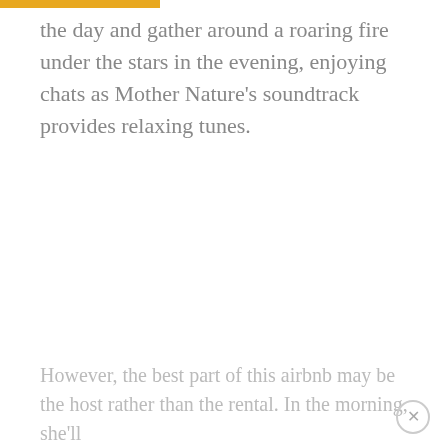the day and gather around a roaring fire under the stars in the evening, enjoying chats as Mother Nature's soundtrack provides relaxing tunes.
However, the best part of this airbnb may be the host rather than the rental. In the morning, she'll